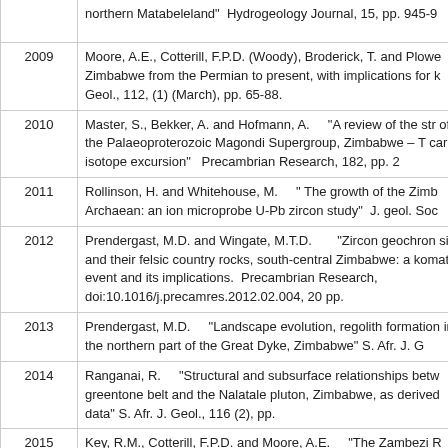| Year | Reference |
| --- | --- |
|  | northern Matabeleland”  Hydrogeology Journal, 15, pp. 945-9 |
| 2009 | Moore, A.E., Cotterill, F.P.D. (Woody), Broderick, T. and Plowe Zimbabwe from the Permian to present, with implications for k Geol., 112, (1) (March), pp. 65-88. |
| 2010 | Master, S., Bekker, A. and Hofmann, A.      “A review of the str of the Palaeoproterozoic Magondi Supergroup, Zimbabwe – T carbon isotope excursion”   Precambrian Research, 182, pp. 2 |
| 2011 | Rollinson, H. and Whitehouse, M.      “ The growth of the Zimb Archaean: an ion microprobe U-Pb zircon study”  J. geol. Soc |
| 2012 | Prendergast, M.D. and Wingate, M.T.D.        “Zircon geochron sills and their felsic country rocks, south-central Zimbabwe: a komatiitic event and its implications.  Precambrian Research, doi:10.1016/j.precamres.2012.02.004, 20 pp. |
| 2013 | Prendergast, M.D.     “Landscape evolution, regolith formation in the northern part of the Great Dyke, Zimbabwe” S. Afr. J. G |
| 2014 | Ranganai, R.     “Structural and subsurface relationships betw greentone belt and the Nalatale pluton, Zimbabwe, as derived data” S. Afr. J. Geol., 116 (2), pp. |
| 2015 | Key, R.M., Cotterill, F.P.D. and Moore, A.E.      “The Zambezi R events linked to the amalgamation and disruption of Gondwa the African Plate” S. Afr. J. Geol., 118 (4), pp. 425-438. |